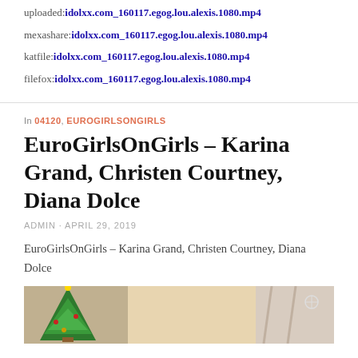uploaded:idolxx.com_160117.egog.lou.alexis.1080.mp4
mexashare:idolxx.com_160117.egog.lou.alexis.1080.mp4
katfile:idolxx.com_160117.egog.lou.alexis.1080.mp4
filefox:idolxx.com_160117.egog.lou.alexis.1080.mp4
In 04120, EUROGIRLSONGIRLS
EuroGirlsOnGirls – Karina Grand, Christen Courtney, Diana Dolce
ADMIN · APRIL 29, 2019
EuroGirlsOnGirls – Karina Grand, Christen Courtney, Diana Dolce
[Figure (photo): Photo thumbnail showing a blonde woman with a Christmas tree on the left side and a curtained window on the right]